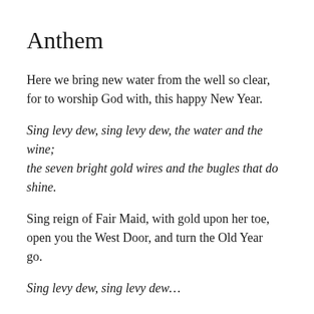Anthem
Here we bring new water from the well so clear,
for to worship God with, this happy New Year.
Sing levy dew, sing levy dew, the water and the wine;
the seven bright gold wires and the bugles that do shine.
Sing reign of Fair Maid, with gold upon her toe, open you the West Door, and turn the Old Year go.
Sing levy dew, sing levy dew…